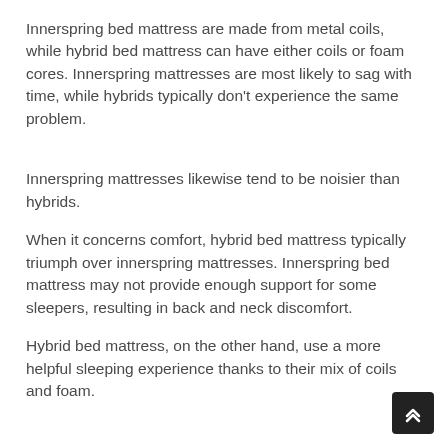Innerspring bed mattress are made from metal coils, while hybrid bed mattress can have either coils or foam cores. Innerspring mattresses are most likely to sag with time, while hybrids typically don't experience the same problem.
Innerspring mattresses likewise tend to be noisier than hybrids.
When it concerns comfort, hybrid bed mattress typically triumph over innerspring mattresses. Innerspring bed mattress may not provide enough support for some sleepers, resulting in back and neck discomfort.
Hybrid bed mattress, on the other hand, use a more helpful sleeping experience thanks to their mix of coils and foam.